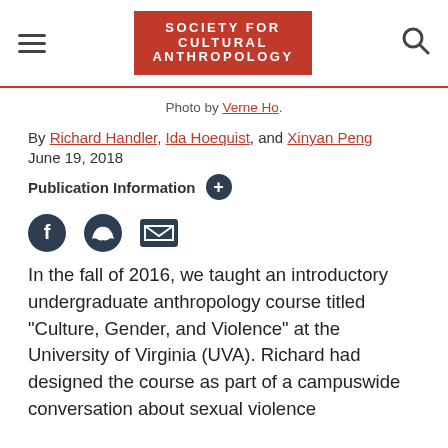Society for Cultural Anthropology
Photo by Verne Ho.
By Richard Handler, Ida Hoequist, and Xinyan Peng
June 19, 2018
Publication Information
In the fall of 2016, we taught an introductory undergraduate anthropology course titled “Culture, Gender, and Violence” at the University of Virginia (UVA). Richard had designed the course as part of a campuswide conversation about sexual violence